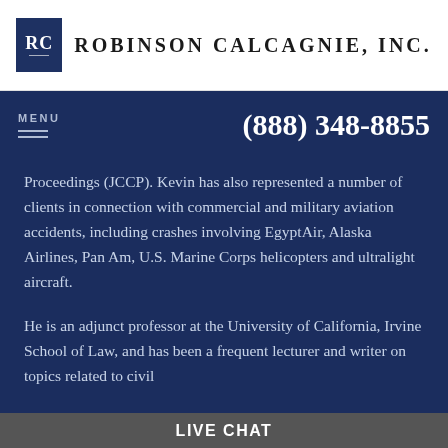[Figure (logo): Robinson Calcagnie, Inc. law firm logo with RC emblem in navy blue box and firm name in uppercase serif text]
MENU  (888) 348-8855
Proceedings (JCCP). Kevin has also represented a number of clients in connection with commercial and military aviation accidents, including crashes involving EgyptAir, Alaska Airlines, Pan Am, U.S. Marine Corps helicopters and ultralight aircraft.
He is an adjunct professor at the University of California, Irvine School of Law, and has been a frequent lecturer and writer on topics related to civil
LIVE CHAT